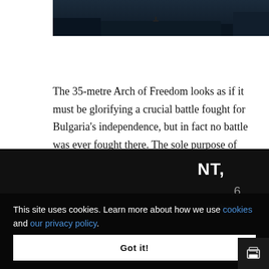[Figure (photo): Dark nighttime landscape photograph showing a silhouetted scene against a dark sky, partially cropped at the top of the page.]
The 35-metre Arch of Freedom looks as if it must be glorifying a crucial battle fought for Bulgaria's independence, but in fact no battle was ever fought there. The sole purpose of building the Arch of Freedom at this particular spot was its impressive and highly visible location.
NT,
.6
at they
This site uses cookies. Learn more about how we use cookies and our privacy policy.
Got it!